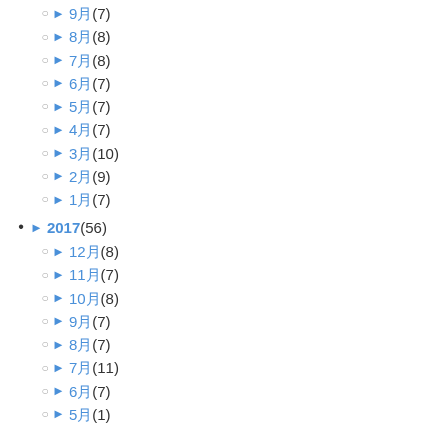► 9月 (7)
► 8月 (8)
► 7月 (8)
► 6月 (7)
► 5月 (7)
► 4月 (7)
► 3月 (10)
► 2月 (9)
► 1月 (7)
► 2017 (56)
► 12月 (8)
► 11月 (7)
► 10月 (8)
► 9月 (7)
► 8月 (7)
► 7月 (11)
► 6月 (7)
► 5月 (1)